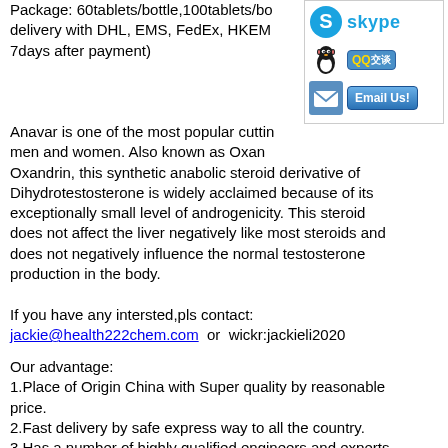Package: 60tablets/bottle,100tablets/bottle; delivery with DHL, EMS, FedEx, HKEM... 7days after payment)
[Figure (infographic): Sidebar with Skype logo and text, QQ penguin icon and QQ chat button, email envelope icon and Email Us button]
Anavar is one of the most popular cutting steroids for men and women. Also known as Oxandrolone or Oxandrin, this synthetic anabolic steroid derivative of Dihydrotestosterone is widely acclaimed because of its exceptionally small level of androgenicity. This steroid does not affect the liver negatively like most steroids and does not negatively influence the normal testosterone production in the body.
If you have any intersted,pls contact:
jackie@health222chem.com  or  wickr:jackieli2020
Our advantage:
1.Place of Origin China with Super quality by reasonable price.
2.Fast delivery by safe express way to all the country.
3.Has a number of highly qualified engineers and experts to provide guidance for reagents.
4.When you meet problems in mineral processing, we can provide technical guidance.
5.Sample order are welcome.
6.NMR,HPLC and COA can be supplied.